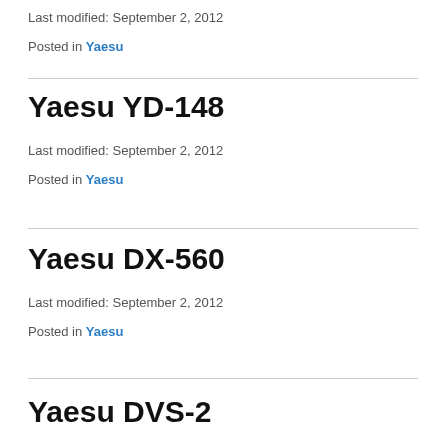Last modified: September 2, 2012
Posted in Yaesu
Yaesu YD-148
Last modified: September 2, 2012
Posted in Yaesu
Yaesu DX-560
Last modified: September 2, 2012
Posted in Yaesu
Yaesu DVS-2